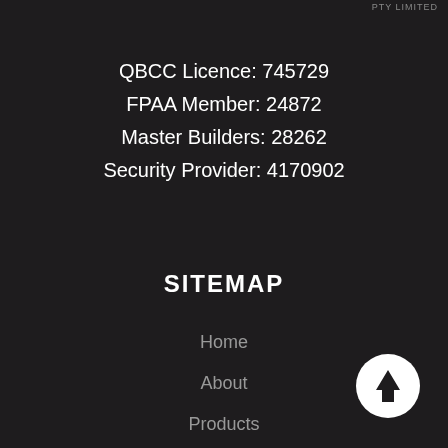PTY LIMITED
QBCC Licence: 745729
FPAA Member: 24872
Master Builders: 28262
Security Provider: 4170902
SITEMAP
Home
About
Products
Services
Projects
Contact Us
[Figure (illustration): White circle with upward arrow icon (scroll-to-top button)]